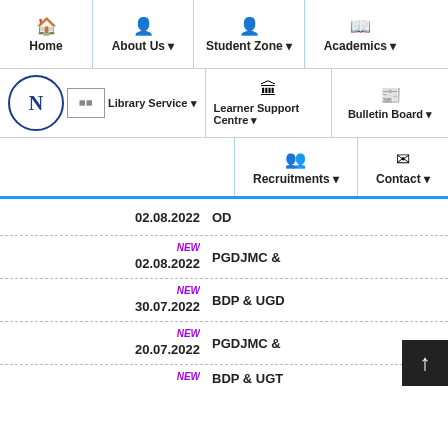Navigation menu: Home | About Us ▼ | Student Zone ▼ | Academics ▼
Library Service ▼ | Learner Support Centre ▼ | Bulletin Board ▼
Recruitments ▼ | Contact ▼
02.08.2022   OD
NEW 02.08.2022   PGDJMC &
NEW 30.07.2022   BDP & UGD
NEW 20.07.2022   PGDJMC &
NEW BDP & UGT